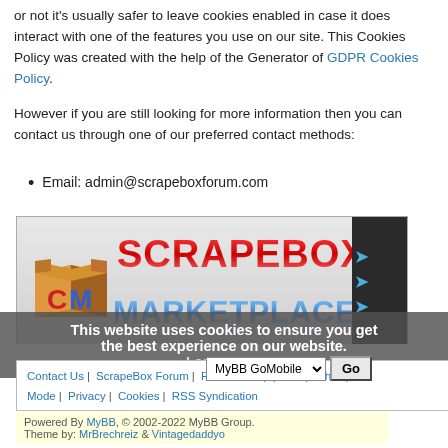or not it's usually safer to leave cookies enabled in case it does interact with one of the features you use on our site. This Cookies Policy was created with the help of the Generator of GDPR Cookies Policy.
However if you are still looking for more information then you can contact us through one of our preferred contact methods:
Email: admin@scrapeboxforum.com
[Figure (screenshot): ScrapeBox Marketplace banner with CM logo, SCRAPEBOX MARKETPLACE text in red/blue metallic style, dark right panel with blue arrows]
This website uses cookies to ensure you get the best experience on our website. Learn more
Contact Us | ScrapeBox Forum | Return to Top | Lite (Archive) Mode | Privacy | Cookies | RSS Syndication
Powered By MyBB, © 2002-2022 MyBB Group. Theme by: MrBrechreiz & Vintagedaddyo